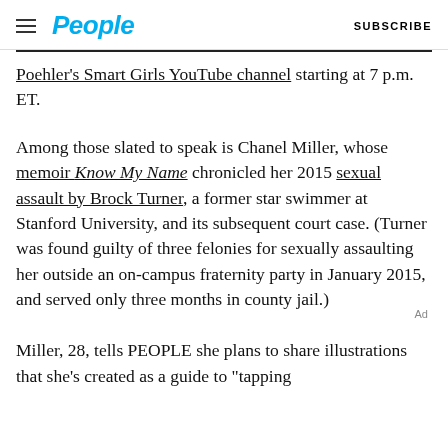People  SUBSCRIBE
Poehler's Smart Girls YouTube channel starting at 7 p.m. ET.
Among those slated to speak is Chanel Miller, whose memoir Know My Name chronicled her 2015 sexual assault by Brock Turner, a former star swimmer at Stanford University, and its subsequent court case. (Turner was found guilty of three felonies for sexually assaulting her outside an on-campus fraternity party in January 2015, and served only three months in county jail.)
Miller, 28, tells PEOPLE she plans to share illustrations that she's created as a guide to "tapping